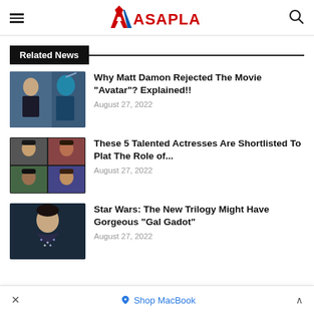ASAPLAND
Related News
[Figure (photo): Movie still showing a man and a blue Na'vi character from Avatar]
Why Matt Damon Rejected The Movie “Avatar”? Explained!!
August 27, 2022
[Figure (photo): Collage of five actresses]
These 5 Talented Actresses Are Shortlisted To Plat The Role of...
August 27, 2022
[Figure (photo): Woman smiling in sparkly outfit against dark background]
Star Wars: The New Trilogy Might Have Gorgeous “Gal Gadot”
August 27, 2022
Shop MacBook